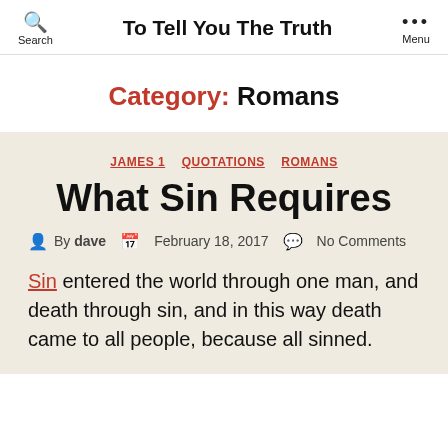To Tell You The Truth
Category: Romans
JAMES 1  QUOTATIONS  ROMANS
What Sin Requires
By dave  February 18, 2017  No Comments
Sin entered the world through one man, and death through sin, and in this way death came to all people, because all sinned.